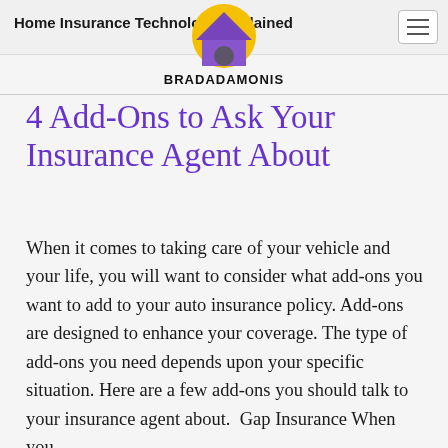Home Insurance Technology Explained
[Figure (logo): Bradadamonis logo: a house icon with a purple roof and yellow circle, with bold black text 'BRADADAMONIS' below]
4 Add-Ons to Ask Your Insurance Agent About
When it comes to taking care of your vehicle and your life, you will want to consider what add-ons you want to add to your auto insurance policy. Add-ons are designed to enhance your coverage. The type of add-ons you need depends upon your specific situation. Here are a few add-ons you should talk to your insurance agent about. Gap Insurance When you